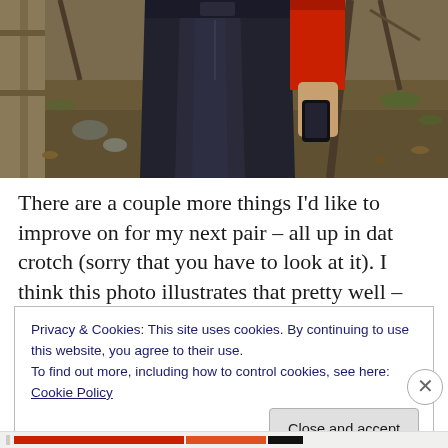[Figure (photo): Photo of a person wearing dark navy/black jeans and a red long-sleeve top, standing outdoors in a backyard. The lower torso and legs are visible. Background shows bare trees, a wooden fence, and leaf-covered ground.]
There are a couple more things I'd like to improve on for my next pair – all up in dat crotch (sorry that you have to look at it). I think this photo illustrates that pretty well – see
Privacy & Cookies: This site uses cookies. By continuing to use this website, you agree to their use.
To find out more, including how to control cookies, see here: Cookie Policy